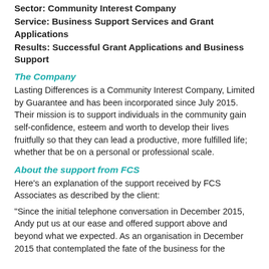Sector: Community Interest Company
Service: Business Support Services and Grant Applications
Results: Successful Grant Applications and Business Support
The Company
Lasting Differences is a Community Interest Company, Limited by Guarantee and has been incorporated since July 2015. Their mission is to support individuals in the community gain self-confidence, esteem and worth to develop their lives fruitfully so that they can lead a productive, more fulfilled life; whether that be on a personal or professional scale.
About the support from FCS
Here’s an explanation of the support received by FCS Associates as described by the client:
“Since the initial telephone conversation in December 2015, Andy put us at our ease and offered support above and beyond what we expected. As an organisation in December 2015 that contemplated the fate of the business for the